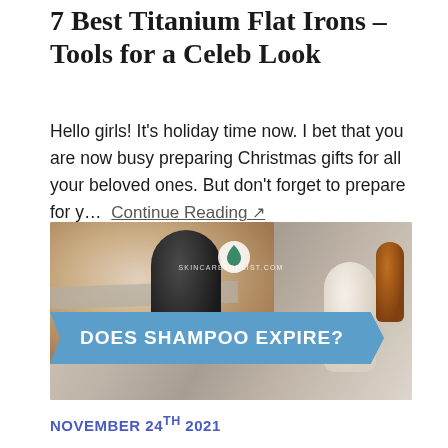7 Best Titanium Flat Irons – Tools for a Celeb Look
Hello girls! It's holiday time now. I bet that you are now busy preparing Christmas gifts for all your beloved ones. But don't forget to prepare for y… Continue Reading ↗
[Figure (photo): Photo showing hands holding a dark bottle with a shampoo bottle and amber glass bottle in the background. A blue banner overlay reads DOES SHAMPOO EXPIRE? A small logo badge is visible. Watermark text reads SKINCARETOPLIST.COM.]
NOVEMBER 24TH 2021